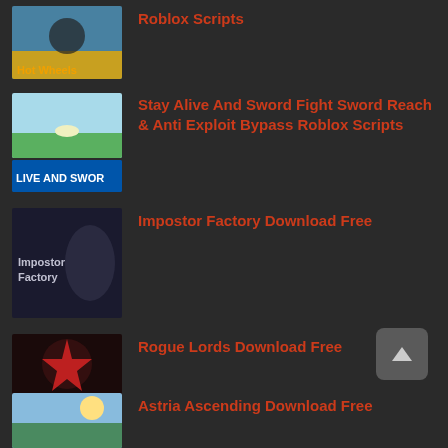Roblox Scripts
Stay Alive And Sword Fight Sword Reach & Anti Exploit Bypass Roblox Scripts
Impostor Factory Download Free
Rogue Lords Download Free
Astria Ascending Download Free